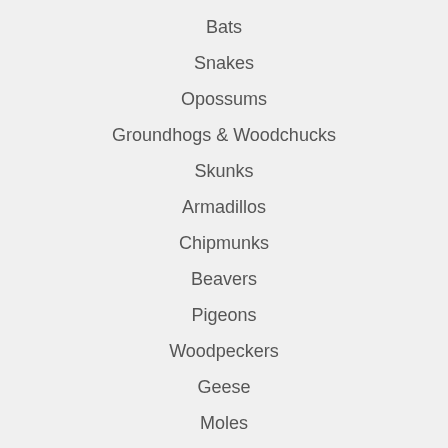Bats
Snakes
Opossums
Groundhogs & Woodchucks
Skunks
Armadillos
Chipmunks
Beavers
Pigeons
Woodpeckers
Geese
Moles
Foxes